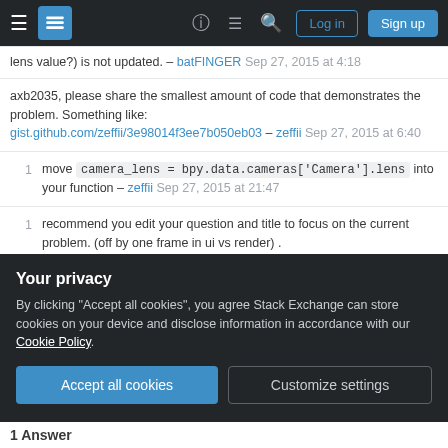Stack Exchange navigation bar with Log in and Sign up buttons
lens value?) is not updated. – batFINGER Sep 27, 2015 at 4:18
axb2035, please share the smallest amount of code that demonstrates the problem. Something like: gist.github.com/zeffii/3e98014f3ee7b050eb03 – zeffii Sep 27, 2015 at 6:40
1  move camera_lens = bpy.data.cameras['Camera'].lens into your function – zeffii Sep 27, 2015 at 21:47
1  recommend you edit your question and title to focus on the current problem. (off by one frame in ui vs render) .
Your privacy — By clicking "Accept all cookies", you agree Stack Exchange can store cookies on your device and disclose information in accordance with our Cookie Policy.
1 Answer